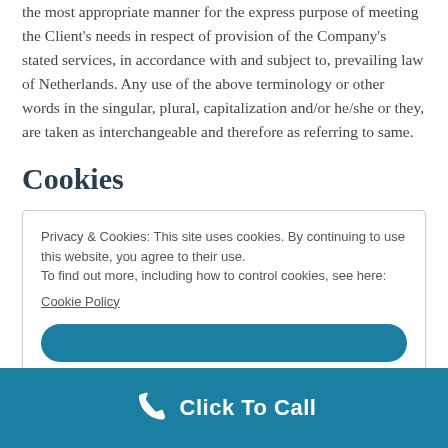the most appropriate manner for the express purpose of meeting the Client's needs in respect of provision of the Company's stated services, in accordance with and subject to, prevailing law of Netherlands. Any use of the above terminology or other words in the singular, plural, capitalization and/or he/she or they, are taken as interchangeable and therefore as referring to same.
Cookies
Privacy & Cookies: This site uses cookies. By continuing to use this website, you agree to their use. To find out more, including how to control cookies, see here: Cookie Policy
Click To Call